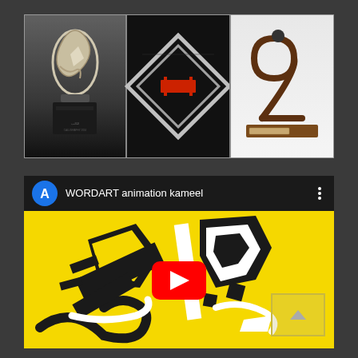[Figure (photo): Three sculptural artworks displayed in a row: left - abstract Arabic calligraphy sculpture on a dark base, center - metallic diamond-shaped frame sculpture with red element on black background, right - a wooden curved number 2 shaped trophy/sculpture on a wooden base]
[Figure (screenshot): YouTube video thumbnail/player showing 'WORDART animation kameel' with a blue avatar circle with letter A, three-dot menu, and a yellow background with black and white Arabic calligraphy word art animation screenshot with YouTube red play button overlay and a small box in bottom right corner]